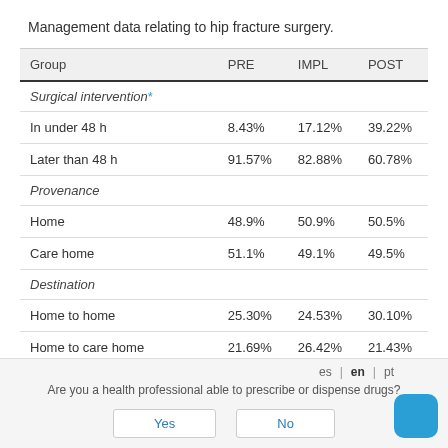Management data relating to hip fracture surgery.
| Group | PRE | IMPL | POST |
| --- | --- | --- | --- |
| Surgical intervention* |  |  |  |
| In under 48 h | 8.43% | 17.12% | 39.22% |
| Later than 48 h | 91.57% | 82.88% | 60.78% |
| Provenance |  |  |  |
| Home | 48.9% | 50.9% | 50.5% |
| Care home | 51.1% | 49.1% | 49.5% |
| Destination |  |  |  |
| Home to home | 25.30% | 24.53% | 30.10% |
| Home to care home | 21.69% | 26.42% | 21.43% |
| Care home to care home (partial) | 53.01% | 49.04% | 48.47% |
es | en | pt
Are you a health professional able to prescribe or dispense drugs?
Yes    No